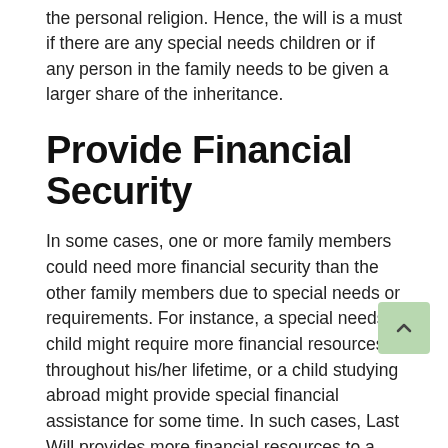the personal religion. Hence, the will is a must if there are any special needs children or if any person in the family needs to be given a larger share of the inheritance.
Provide Financial Security
In some cases, one or more family members could need more financial security than the other family members due to special needs or requirements. For instance, a special needs child might require more financial resources throughout his/her lifetime, or a child studying abroad might provide special financial assistance for some time. In such cases, Last Will provides more financial resources to a specific person. In case of no will as per the Succession Act, the property of the deceased is divided equally without consideration for special needs or requirements
Appointing Guardian for Minors